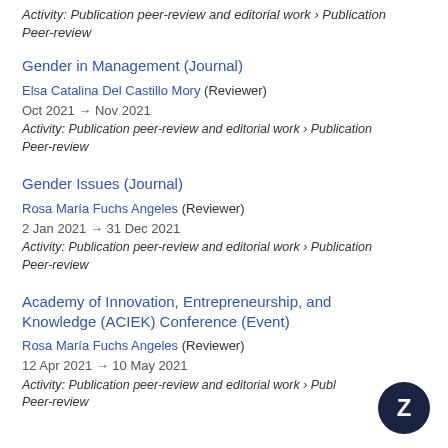Activity: Publication peer-review and editorial work › Publication Peer-review
Gender in Management (Journal)
Elsa Catalina Del Castillo Mory (Reviewer)
Oct 2021 → Nov 2021
Activity: Publication peer-review and editorial work › Publication Peer-review
Gender Issues (Journal)
Rosa María Fuchs Angeles (Reviewer)
2 Jan 2021 → 31 Dec 2021
Activity: Publication peer-review and editorial work › Publication Peer-review
Academy of Innovation, Entrepreneurship, and Knowledge (ACIEK) Conference (Event)
Rosa María Fuchs Angeles (Reviewer)
12 Apr 2021 → 10 May 2021
Activity: Publication peer-review and editorial work › Publication Peer-review